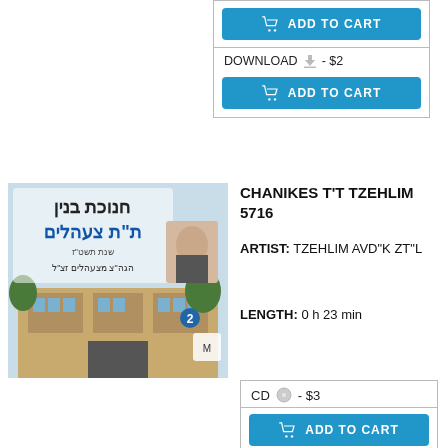DOWNLOAD - $2
ADD TO CART
[Figure (photo): Album cover for Chanikes T'T Tzehlim 5716 showing a building exterior and a portrait photo, with Hebrew text]
CHANIKES T'T TZEHLIM 5716
ARTIST: TZEHLIM AVD"K ZT"L
LENGTH: 0 h 23 min
CD - $3
ADD TO CART